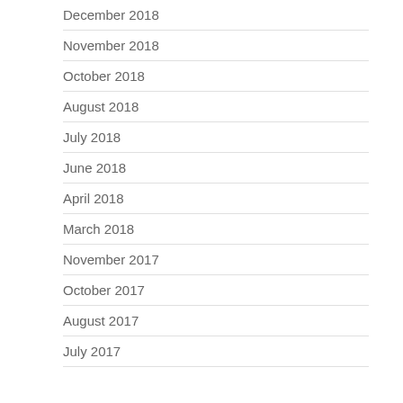December 2018
November 2018
October 2018
August 2018
July 2018
June 2018
April 2018
March 2018
November 2017
October 2017
August 2017
July 2017